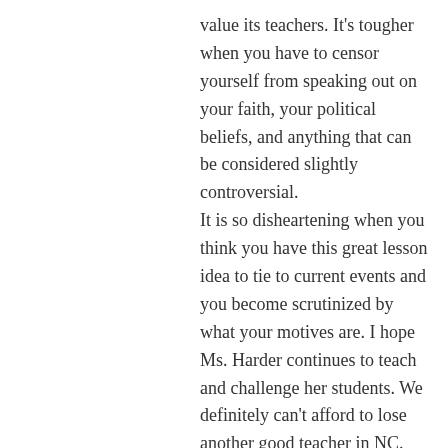value its teachers. It's tougher when you have to censor yourself from speaking out on your faith, your political beliefs, and anything that can be considered slightly controversial.
It is so disheartening when you think you have this great lesson idea to tie to current events and you become scrutinized by what your motives are. I hope Ms. Harder continues to teach and challenge her students. We definitely can't afford to lose another good teacher in NC.
★ Like
A.P. Dillon on September 21, 2016 at 9:15 PM
Have I heard of Common Core?
I nearly laughed. Take a closer look at this